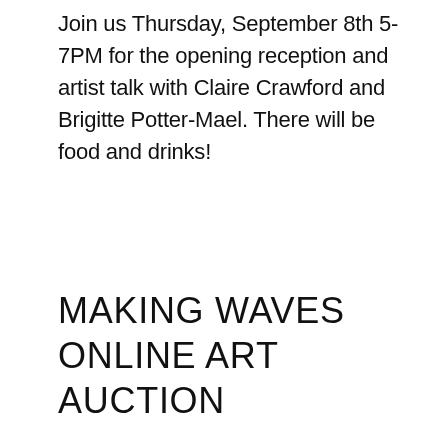Join us Thursday, September 8th 5-7PM for the opening reception and artist talk with Claire Crawford and Brigitte Potter-Mael. There will be food and drinks!
MAKING WAVES ONLINE ART AUCTION